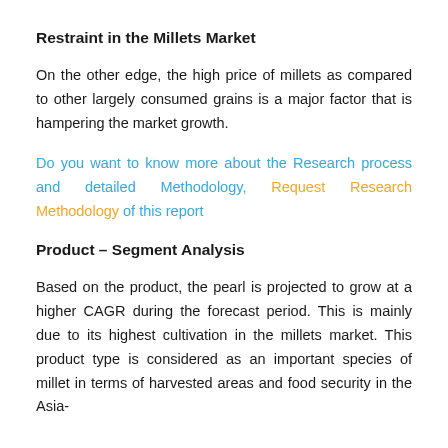Restraint in the Millets Market
On the other edge, the high price of millets as compared to other largely consumed grains is a major factor that is hampering the market growth.
Do you want to know more about the Research process and detailed Methodology, Request Research Methodology of this report
Product – Segment Analysis
Based on the product, the pearl is projected to grow at a higher CAGR during the forecast period. This is mainly due to its highest cultivation in the millets market. This product type is considered as an important species of millet in terms of harvested areas and food security in the Asia-